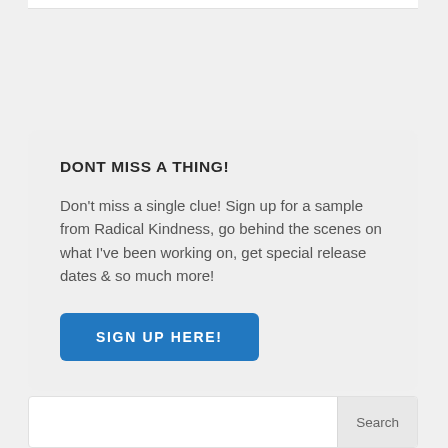DONT MISS A THING!
Don't miss a single clue! Sign up for a sample from Radical Kindness, go behind the scenes on what I've been working on, get special release dates & so much more!
SIGN UP HERE!
Search